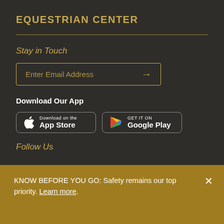EQUESTRIAN CENTER
Stay in Touch
Enter Email Address →
Download Our App
[Figure (other): App Store download button for iOS]
[Figure (other): Google Play download button for Android]
Follow Us
KNOW BEFORE YOU GO: Safety remains our top priority. Learn more.